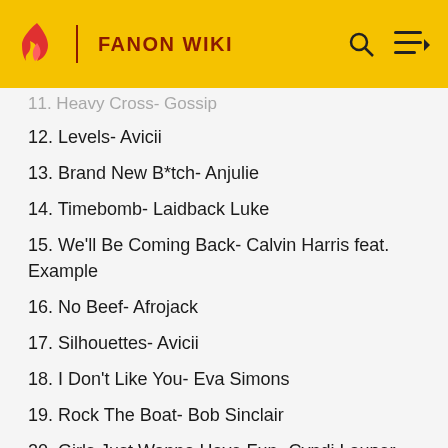FANON WIKI
11. Heavy Cross- Gossip
12. Levels- Avicii
13. Brand New B*tch- Anjulie
14. Timebomb- Laidback Luke
15. We'll Be Coming Back- Calvin Harris feat. Example
16. No Beef- Afrojack
17. Silhouettes- Avicii
18. I Don't Like You- Eva Simons
19. Rock The Boat- Bob Sinclair
20. Girls Just Wanna Have Fun- Cyndi Lauper
21. Our House- Madness
22. Love Shack- B52's
23. Uptown Girl- Billy Joel
24. Who Can It Be Now- Men At Work
25. Don't Stop Believin'- Journey